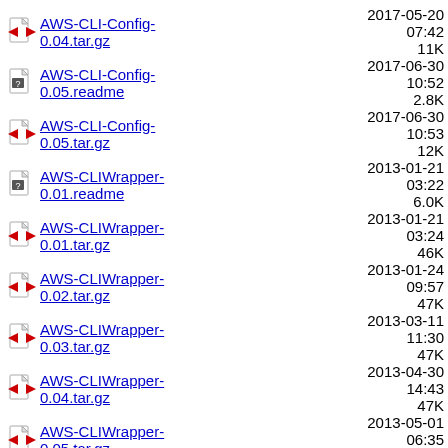AWS-CLI-Config-0.04.tar.gz  2017-05-20 07:42  11K
AWS-CLI-Config-0.05.readme  2017-06-30 10:52  2.8K
AWS-CLI-Config-0.05.tar.gz  2017-06-30 10:53  12K
AWS-CLIWrapper-0.01.readme  2013-01-21 03:22  6.0K
AWS-CLIWrapper-0.01.tar.gz  2013-01-21 03:24  46K
AWS-CLIWrapper-0.02.tar.gz  2013-01-24 09:57  47K
AWS-CLIWrapper-0.03.tar.gz  2013-03-11 11:30  47K
AWS-CLIWrapper-0.04.tar.gz  2013-04-30 14:43  47K
AWS-CLIWrapper-0.05.tar.gz  2013-05-01 06:35  48K
AWS-CLIWrapper-0.06.tar.gz  2013-06-12 10:12  48K
AWS-CLIWrapper-0.07.tar.gz  2013-06-19 05:30  48K